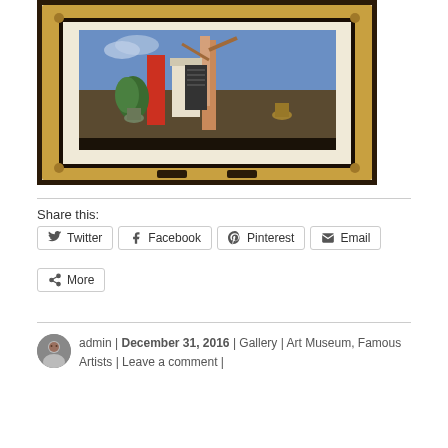[Figure (photo): A framed painting displayed in a gold ornate frame, showing a landscape/architectural scene with trees, buildings, and colorful objects. The painting is mounted on a wall.]
Share this:
Twitter | Facebook | Pinterest | Email | More
admin | December 31, 2016 | Gallery | Art Museum, Famous Artists | Leave a comment |